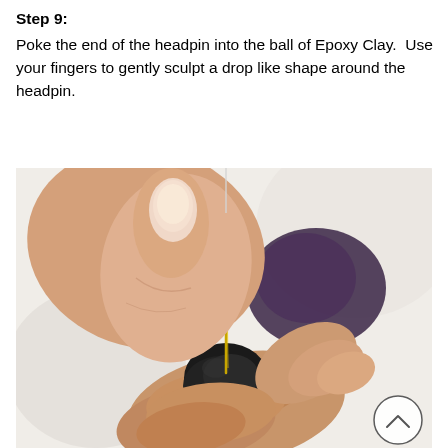Step 9:
Poke the end of the headpin into the ball of Epoxy Clay.  Use your fingers to gently sculpt a drop like shape around the headpin.
[Figure (photo): Close-up photograph of two hands using fingers to sculpt a dark clay bead (drop shape) onto a gold headpin, with a purple bead visible in the background.]